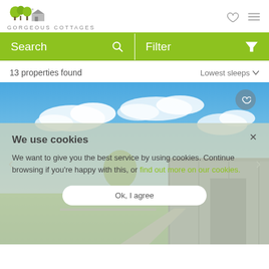GORGEOUS COTTAGES
Search   Filter
13 properties found
Lowest sleeps
[Figure (photo): Exterior photo of a modern dark-clad barn-style building under a blue sky with white clouds, with green lawn in foreground]
We use cookies

We want to give you the best service by using cookies. Continue browsing if you're happy with this, or find out more on our cookies.